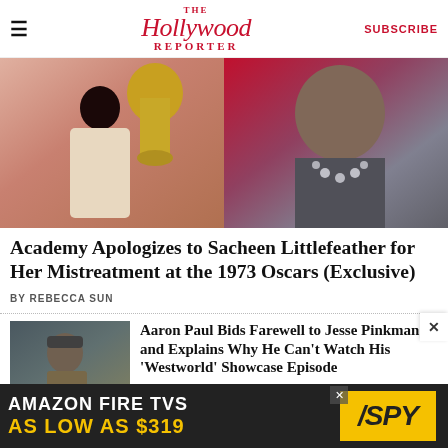THE Hollywood REPORTER | SUBSCRIBE
[Figure (photo): Two-panel hero photo: left panel shows a young Native American woman in traditional dress standing next to a large Oscar statuette; right panel shows an older Native American woman wearing a silver bead necklace against a red background.]
Academy Apologizes to Sacheen Littlefeather for Her Mistreatment at the 1973 Oscars (Exclusive)
BY REBECCA SUN
[Figure (photo): Thumbnail photo of a man in a knit hat and layered winter clothing, likely a still from Westworld.]
Aaron Paul Bids Farewell to Jesse Pinkman and Explains Why He Can't Watch His 'Westworld' Showcase Episode
BY BRIAN DAVIDS
[Figure (other): Advertisement banner: Amazon Fire TVs As Low As $319, with SPY logo in yellow.]